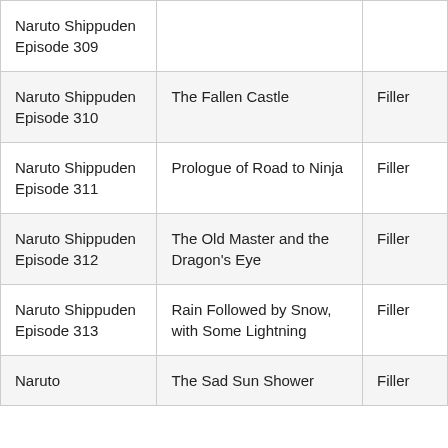| Naruto Shippuden Episode 309 |  |  |
| Naruto Shippuden Episode 310 | The Fallen Castle | Filler |
| Naruto Shippuden Episode 311 | Prologue of Road to Ninja | Filler |
| Naruto Shippuden Episode 312 | The Old Master and the Dragon's Eye | Filler |
| Naruto Shippuden Episode 313 | Rain Followed by Snow, with Some Lightning | Filler |
| Naruto | The Sad Sun Shower | Filler |